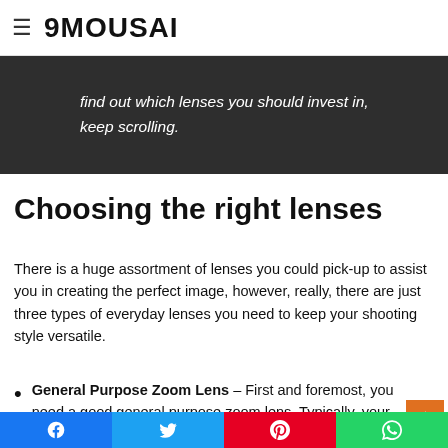9MOUSAI
find out which lenses you should invest in, keep scrolling.
Choosing the right lenses
There is a huge assortment of lenses you could pick-up to assist you in creating the perfect image, however, really, there are just three types of everyday lenses you need to keep your shooting style versatile.
General Purpose Zoom Lens – First and foremost, you need a good general purpose zoom lens. Typically, your DSLR camera will come with a
Facebook  Twitter  Pinterest  WhatsApp